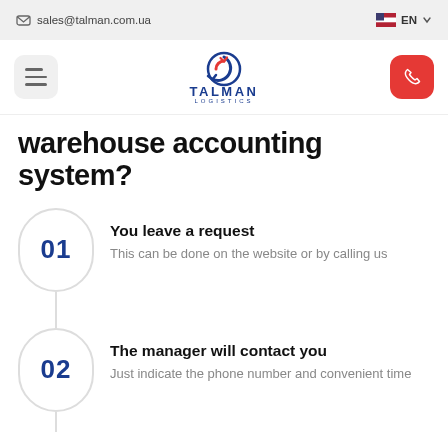sales@talman.com.ua   EN
[Figure (logo): Talman Logistics logo with circular arrow icon and company name]
warehouse accounting system?
01 You leave a request — This can be done on the website or by calling us
02 The manager will contact you — Just indicate the phone number and convenient time